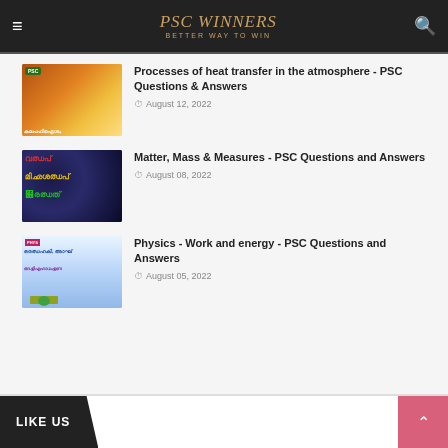PSC WINNERS - BETTER WAY TO WIN
[Figure (screenshot): Thumbnail image for heat transfer article - orange/yellow sun rays background with Malayalam text and PSC label]
Processes of heat transfer in the atmosphere - PSC Questions & Answers
August 12, 2022
[Figure (screenshot): Thumbnail image for matter/mass article - dark blue space background with red and yellow Malayalam text]
Matter, Mass & Measures - PSC Questions and Answers
August 08, 2022
[Figure (screenshot): Thumbnail image for physics work and energy article - light blue background with PHYS label and Malayalam text]
Physics - Work and energy - PSC Questions and Answers
August 05, 2022
LIKE US